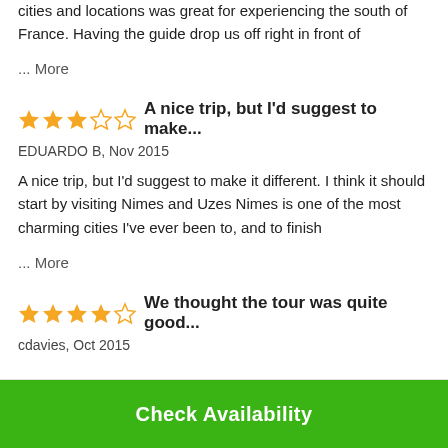cities and locations was great for experiencing the south of France. Having the guide drop us off right in front of ... More
A nice trip, but I'd suggest to make... EDUARDO B, Nov 2015
A nice trip, but I'd suggest to make it different. I think it should start by visiting Nimes and Uzes Nimes is one of the most charming cities I've ever been to, and to finish ... More
We thought the tour was quite good... cdavies, Oct 2015
Check Availability